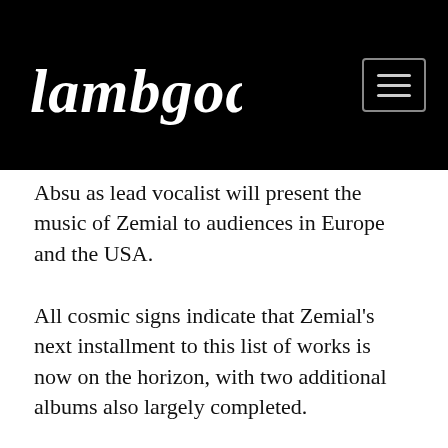lambgoat
Absu as lead vocalist will present the music of Zemial to audiences in Europe and the USA.
All cosmic signs indicate that Zemial's next installment to this list of works is now on the horizon, with two additional albums also largely completed.
The band commented on the signing: "We welcome the new year by announcing a distinguished new collaboration: the signing of a worldwide agreement with Agonia Records. Agonia Records has given every indication of being the right partner to support Zemial's constant transformation as we remain onto the